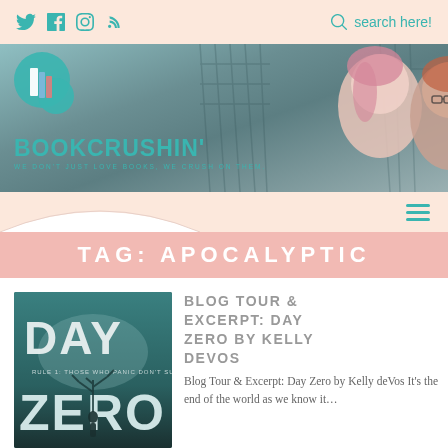Social icons: Twitter, Facebook, Instagram, RSS | search here!
[Figure (photo): Bookcrushin' blog banner with logo and two women (one with pink hair, one with red hair and glasses) standing in front of a bridge. Logo shows stylized 'B' with books. Text: BOOKCRUSHIN' WE DON'T JUST LOVE BOOKS, WE CRUSH ON THEM.]
[Figure (other): Navigation strip with arch/dome shape on left and hamburger menu icon on right in teal.]
TAG: APOCALYPTIC
[Figure (photo): Book cover of 'Day Zero' by Kelly deVos - dark teal background with large text DAY ZERO and a figure standing beneath a bare tree. Subtitle: RULE 1: THOSE WHO PANIC DON'T SURVIVE.]
BLOG TOUR & EXCERPT: DAY ZERO BY KELLY DEVOS
Blog Tour & Excerpt: Day Zero by Kelly deVos It's the end of the world as we know it…